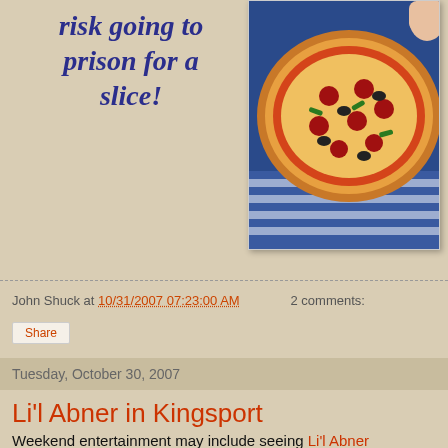risk going to prison for a slice!
[Figure (photo): Photo of a pepperoni and vegetable pizza on a blue checkered cloth background]
John Shuck at 10/31/2007 07:23:00 AM   2 comments:
Share
Tuesday, October 30, 2007
Li'l Abner in Kingsport
Weekend entertainment may include seeing Li'l Abner performed by students and directed by the Dobyns-Bennett Drama and Choral Department.